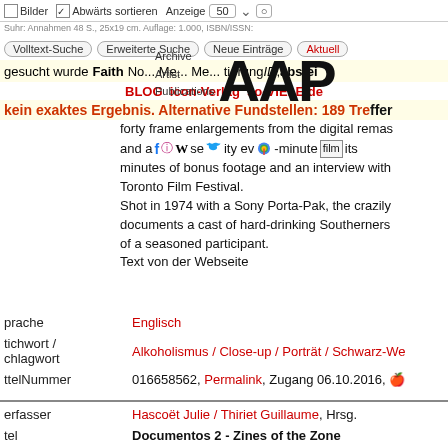Bilder  Abwärts sortieren  Anzeige 50
Volltext-Suche  Erweiterte Suche  Neue Einträge  Aktuell
[Figure (logo): AAP - Archive Artist Publications logo with large AAP text and sub-labels: Archive, Artist, Publications]
gesucht wurde Faith No... Me... Me... tierung ID, abstei
BLOG  icon-Verlag  so-VIELE.de
kein exaktes Ergebnis. Alternative Fundstellen: 189 Treffer
forty frame enlargements from the digital remas and a [social icons] f the se ity ev -minute film its minutes of bonus footage and an interview with Toronto Film Festival. Shot in 1974 with a Sony Porta-Pak, the crazily documents a cast of hard-drinking Southerners of a seasoned participant. Text von der Webseite
prache: Englisch
tichwort / chlagwort: Alkoholismus / Close-up / Porträt / Schwarz-W
ttelNummer: 016658562, Permalink, Zugang 06.10.2016
erfasser: Hascoët Julie / Thiriet Guillaume, Hrsg.
tel: Documentos 2 - Zines of the Zone
rt Land: Madrid (Spanien)